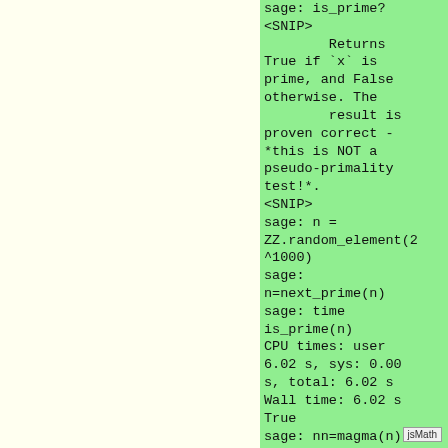sage: is_prime?
<SNIP>
        Returns True if `x` is prime, and False otherwise. The
                result is proven correct - *this is NOT a pseudo-primality test!*.
<SNIP>
sage: n = ZZ.random_element(2^1000)
sage: n=next_prime(n)
sage: time is_prime(n)
CPU times: user 6.02 s, sys: 0.00 s, total: 6.02 s
Wall time: 6.02 s
True
sage: nn=magma(n)